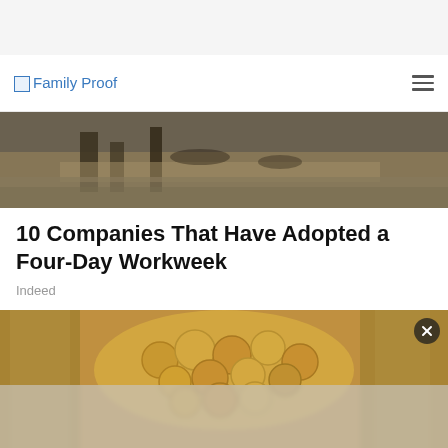[Figure (screenshot): FamilyProof website navigation bar with logo text and hamburger menu icon]
[Figure (photo): Partial photo of a workplace/office scene, showing people's legs and a wooden floor]
10 Companies That Have Adopted a Four-Day Workweek
Indeed
[Figure (photo): Close-up photo of gold/bronze coins piled in metallic containers]